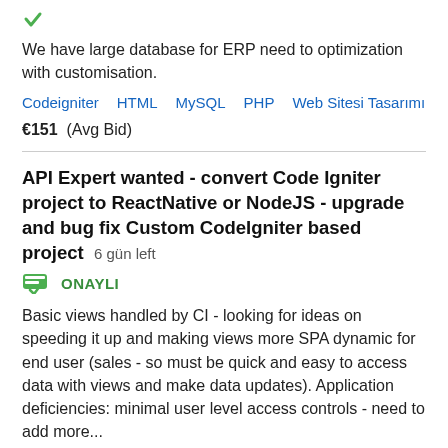[Figure (illustration): Green checkmark icon at top]
We have large database for ERP need to optimization with customisation.
Codeigniter   HTML   MySQL   PHP   Web Sitesi Tasarımı
€151  (Avg Bid)
API Expert wanted - convert Code Igniter project to ReactNative or NodeJS - upgrade and bug fix Custom CodeIgniter based project  6 gün left
[Figure (illustration): Green approved badge icon with checkmark and ONAYLI text]
Basic views handled by CI - looking for ideas on speeding it up and making views more SPA dynamic for end user (sales - so must be quick and easy to access data with views and make data updates). Application deficiencies: minimal user level access controls - need to add more...
Codeigniter   Node.js   PHP   React Native   Yazılım Mimarisi